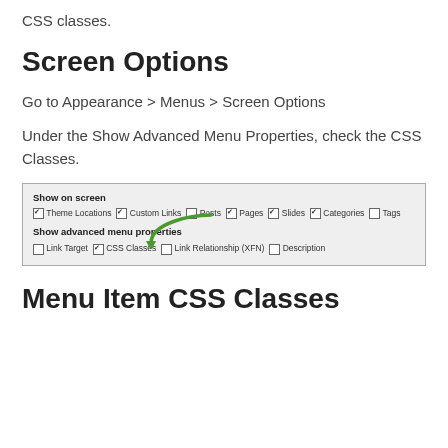CSS classes.
Screen Options
Go to Appearance > Menus > Screen Options
Under the Show Advanced Menu Properties, check the CSS Classes.
[Figure (screenshot): Screenshot of WordPress Screen Options panel showing checkboxes for Show on screen (Theme Locations, Custom Links, Posts, Pages, Slides, Categories, Tags) and Show advanced menu properties (Link Target, CSS Classes checked with green arrow pointing to it, Link Relationship (XFN), Description).]
Menu Item CSS Classes